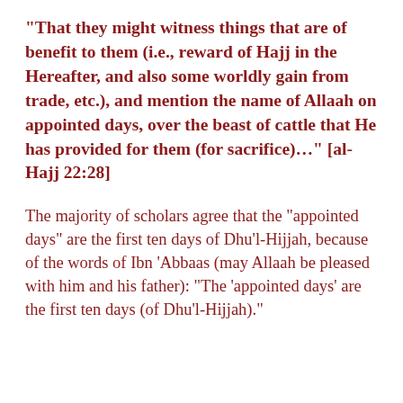“That they might witness things that are of benefit to them (i.e., reward of Hajj in the Hereafter, and also some worldly gain from trade, etc.), and mention the name of Allaah on appointed days, over the beast of cattle that He has provided for them (for sacrifice)…” [al-Hajj 22:28]
The majority of scholars agree that the “appointed days” are the first ten days of Dhu’l-Hijjah, because of the words of Ibn ‘Abbaas (may Allaah be pleased with him and his father): “The ‘appointed days’ are the first ten days (of Dhu’l-Hijjah).”